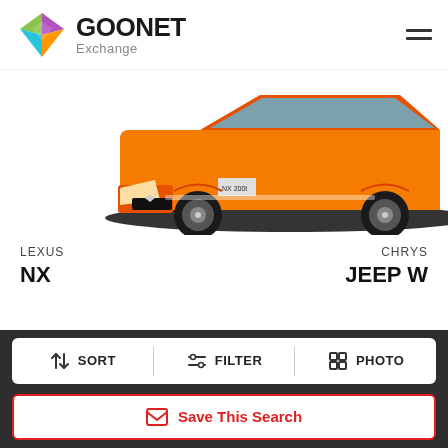[Figure (logo): GOONET Exchange logo with colorful diamond/arrow icon and bold black GOONET text with Exchange subtitle]
[Figure (photo): Orange Lexus NX car photographed from front-side angle on dark shadow, partially cropped]
LEXUS
NX
CHRYS
JEEP W
[Figure (infographic): Carousel dot indicators: 5 dots, first one red (active), rest grey]
[Figure (infographic): Red scroll-to-top button with white upward arrow]
SORT
FILTER
PHOTO
Save This Search